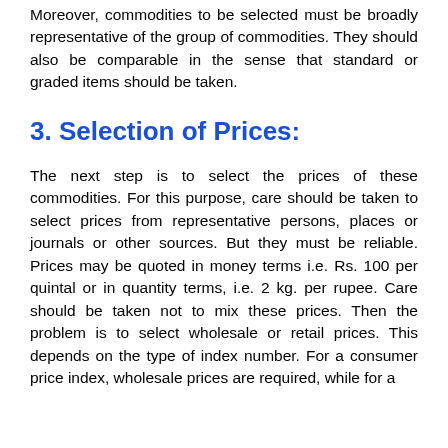Moreover, commodities to be selected must be broadly representative of the group of commodities. They should also be comparable in the sense that standard or graded items should be taken.
3. Selection of Prices:
The next step is to select the prices of these commodities. For this purpose, care should be taken to select prices from representative persons, places or journals or other sources. But they must be reliable. Prices may be quoted in money terms i.e. Rs. 100 per quintal or in quantity terms, i.e. 2 kg. per rupee. Care should be taken not to mix these prices. Then the problem is to select wholesale or retail prices. This depends on the type of index number. For a consumer price index, wholesale prices are required, while for a